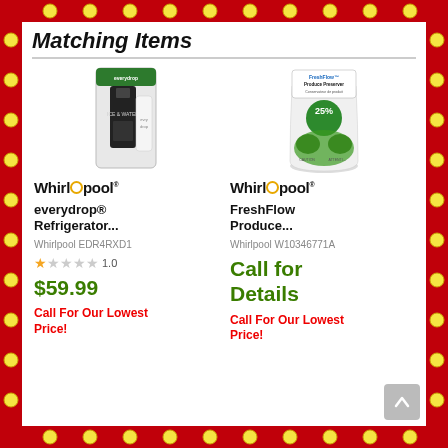Matching Items
[Figure (photo): Water filter product image - everydrop Refrigerator filter in packaging]
[Figure (photo): FreshFlow Produce Preserver bag with green vegetables and 25% badge]
Whirlpool
Whirlpool
everydrop® Refrigerator...
FreshFlow Produce...
Whirlpool EDR4RXD1
Whirlpool W10346771A
1.0
$59.99
Call for Details
Call For Our Lowest Price!
Call For Our Lowest Price!